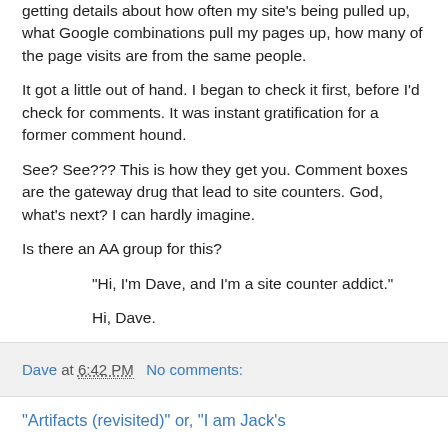getting details about how often my site's being pulled up, what Google combinations pull my pages up, how many of the page visits are from the same people.
It got a little out of hand. I began to check it first, before I'd check for comments. It was instant gratification for a former comment hound.
See? See??? This is how they get you. Comment boxes are the gateway drug that lead to site counters. God, what's next? I can hardly imagine.
Is there an AA group for this?
"Hi, I'm Dave, and I'm a site counter addict."
Hi, Dave.
Dave at 6:42 PM    No comments:
"Artifacts (revisited)" or, "I am Jack's